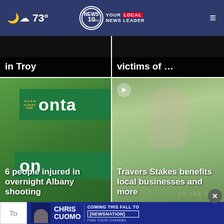🌙☁ 73° | NEWS10 YOUR LOCAL NEWS LEADER
in Troy
victims of …
[Figure (photo): Green street sign in Albany showing partial text 'onta' and 'on', with Albany Park logo visible]
6 people injured in overnight Albany shooting
[Figure (photo): Young blonde girl smiling, wearing a colorful dress, outdoors with green background. Play button overlay in top-left corner.]
Travers Stakes benefits local businesses and more
To
[Figure (screenshot): Ad banner: Chris Cuomo - Coming this Fall to NewsNation. Find your channel.]